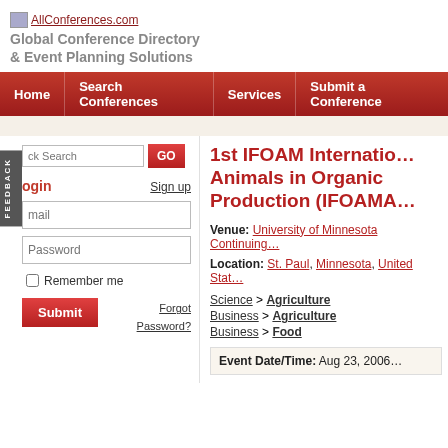AllConferences.com — Global Conference Directory & Event Planning Solutions
Home | Search Conferences | Services | Submit a Conference
1st IFOAM International Conference on Animals in Organic Production (IFOAMA)
Venue: University of Minnesota Continuing
Location: St. Paul, Minnesota, United States
Science > Agriculture
Business > Agriculture
Business > Food
Event Date/Time: Aug 23, 2006